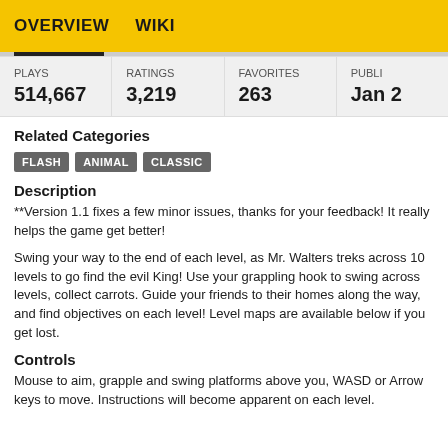OVERVIEW   WIKI
| PLAYS | RATINGS | FAVORITES | PUBLI... |
| --- | --- | --- | --- |
| 514,667 | 3,219 | 263 | Jan ... |
Related Categories
FLASH
ANIMAL
CLASSIC
Description
**Version 1.1 fixes a few minor issues, thanks for your feedback! It really helps the game get better!
Swing your way to the end of each level, as Mr. Walters treks across 10 levels to go find the evil King! Use your grappling hook to swing across levels, collect carrots. Guide your friends to their homes along the way, and find objectives on each level! Level maps are available below if you get lost.
Controls
Mouse to aim, grapple and swing platforms above you, WASD or Arrow keys to move. Instructions will become apparent on each level.